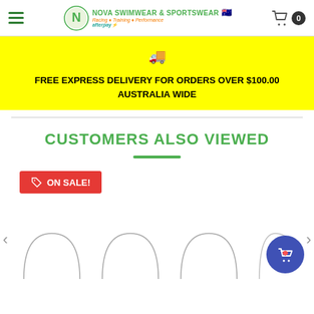Nova Swimwear & Sportswear — Racing • Training • Performance — Afterpay available
🚚 FREE EXPRESS DELIVERY FOR ORDERS OVER $100.00 AUSTRALIA WIDE
CUSTOMERS ALSO VIEWED
ON SALE!
[Figure (screenshot): Product carousel showing bottom portions of swimwear product images with navigation arrows and a floating wishlist/cart button]